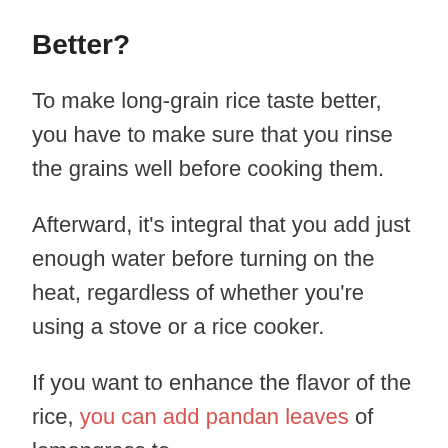Better?
To make long-grain rice taste better, you have to make sure that you rinse the grains well before cooking them.
Afterward, it's integral that you add just enough water before turning on the heat, regardless of whether you're using a stove or a rice cooker.
If you want to enhance the flavor of the rice, you can add pandan leaves of lemongrass to